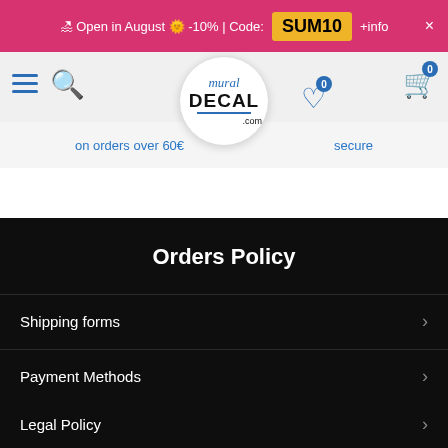🏖 Open in August 🌞 -10% | Code: SUM10 +info ×
[Figure (logo): Mural Decal .com logo in circular frame with hamburger menu, search icon, wishlist and cart icons]
on orders over 60€    secure
Orders Policy
Shipping forms
Payment Methods
Cookies Policy
We use our own cookies and third party cookies in order to provide you a better user experience and service. If you continue to browse and use this website you are agreeing to the use of these cookies. More information about our Cookies Policy
Legal Policy